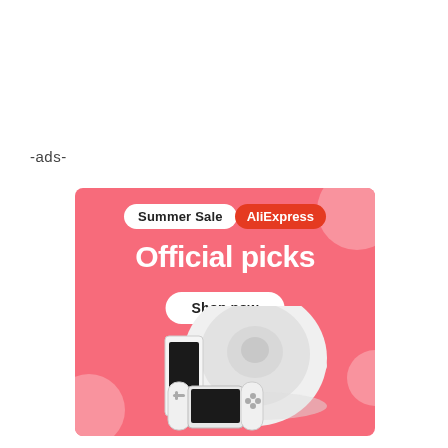-ads-
[Figure (illustration): AliExpress Summer Sale advertisement banner with pink background. Shows 'Summer Sale' badge and 'AliExpress' red badge at top. Main text: 'Official picks'. 'Shop now' white pill button. Product images include a white robot vacuum cleaner, a smartphone (Xiaomi/similar), and a Nintendo Switch OLED console.]